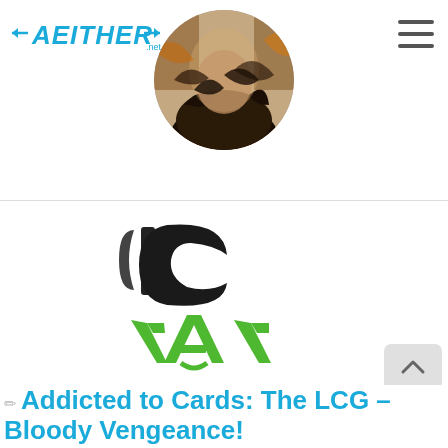AETHER.net
[Figure (photo): Circular profile photo showing a person with dark curly hair, colorful background suggesting fantasy/gaming artwork]
[Figure (logo): Partially visible logo with black letters 'IC' and green stylized letters 'A' below — appears to be an 'Addicted to Cards' or similar LCG gaming logo]
Addicted to Cards: The LCG – Bloody Vengeance!